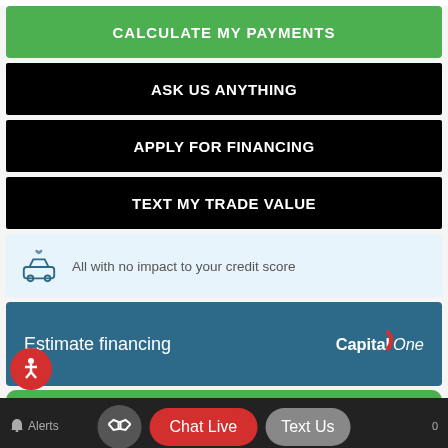CALCULATE MY PAYMENTS
ASK US ANYTHING
APPLY FOR FINANCING
TEXT MY TRADE VALUE
All with no impact to your credit score
Estimate financing
[Figure (logo): Capital One logo in white]
TEXT MY TRADE-IN VALUE!
Powered by iPacket
Alerts
Chat Live
Text Us